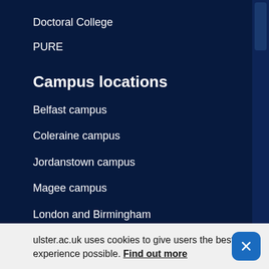Doctoral College
PURE
Campus locations
Belfast campus
Coleraine campus
Jordanstown campus
Magee campus
London and Birmingham
Qatar
Campus facilities
Residential Services
Sports Services
ulster.ac.uk uses cookies to give users the best experience possible. Find out more